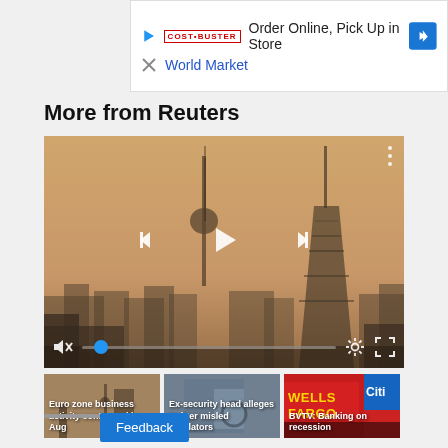[Figure (screenshot): Advertisement banner: Order Online, Pick Up in Store - World Market]
More from Reuters
[Figure (screenshot): Reuters video player showing Berlin skyline in hazy/smoggy conditions with playback controls (skip back, play, skip forward), mute button, progress bar with blue dot, settings gear icon, and fullscreen icon]
[Figure (screenshot): Thumbnail: Euro zone business activity contracted in Aug]
[Figure (screenshot): Thumbnail: Ex-security head alleges Twitter misled regulators]
[Figure (screenshot): Thumbnail: BVTV: Banking on recession (Wells Fargo, Citi signs visible)]
Feedback